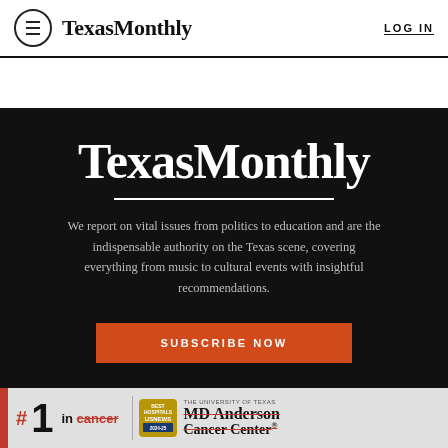Texas Monthly | LOG IN
[Figure (logo): Texas Monthly large white logo on black background]
We report on vital issues from politics to education and are the indispensable authority on the Texas scene, covering everything from music to cultural events with insightful recommendations.
SUBSCRIBE NOW
[Figure (infographic): MD Anderson Cancer Center #1 in cancer Best Hospitals US News ad banner]